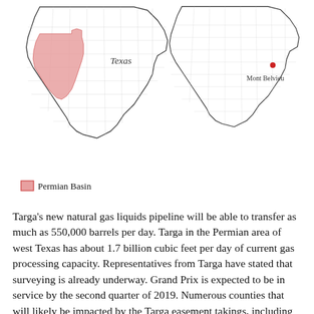[Figure (map): Two maps of Texas side by side. Left map shows the state of Texas with the Permian Basin region highlighted in pink/red in the west-central area, labeled 'Texas'. Right map shows the state of Texas with a red dot marking Mont Belvieu in southeast Texas. Legend below the left map shows a pink square labeled 'Permian Basin'.]
Targa's new natural gas liquids pipeline will be able to transfer as much as 550,000 barrels per day. Targa in the Permian area of west Texas has about 1.7 billion cubic feet per day of current gas processing capacity. Representatives from Targa have stated that surveying is already underway. Grand Prix is expected to be in service by the second quarter of 2019. Numerous counties that will likely be impacted by the Targa easement takings, including Eastland, Erath, Hood and Johnson...